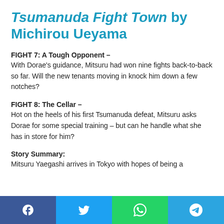Tsumanuda Fight Town by Michirou Ueyama
FIGHT 7: A Tough Opponent –
With Dorae's guidance, Mitsuru had won nine fights back-to-back so far. Will the new tenants moving in knock him down a few notches?
FIGHT 8: The Cellar –
Hot on the heels of his first Tsumanuda defeat, Mitsuru asks Dorae for some special training – but can he handle what she has in store for him?
Story Summary:
Mitsuru Yaegashi arrives in Tokyo with hopes of being a
[Figure (other): Social media sharing bar with Facebook, Twitter, WhatsApp, and Telegram buttons]